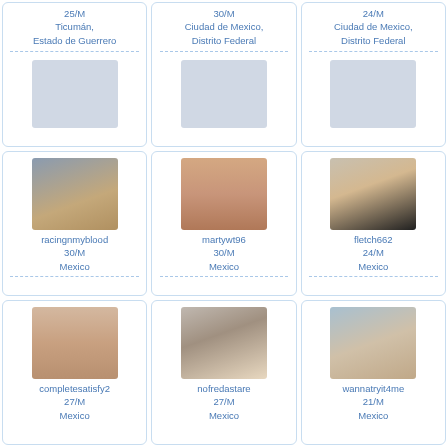[Figure (photo): Profile card: 25/M, Ticumán, Estado de Guerrero, no photo]
[Figure (photo): Profile card: 30/M, Ciudad de Mexico, Distrito Federal, no photo]
[Figure (photo): Profile card: 24/M, Ciudad de Mexico, Distrito Federal, no photo]
[Figure (photo): Profile card: racingnmyblood, 30/M, Mexico, photo of young man]
[Figure (photo): Profile card: martywt96, 30/M, Mexico, torso photo]
[Figure (photo): Profile card: fletch662, 24/M, Mexico, photo of young man]
[Figure (photo): Profile card: completesatisfy2, 27/M, torso photo]
[Figure (photo): Profile card: nofredastare, 27/M, photo of young man]
[Figure (photo): Profile card: wannatryit4me, 21/M, photo of young man]